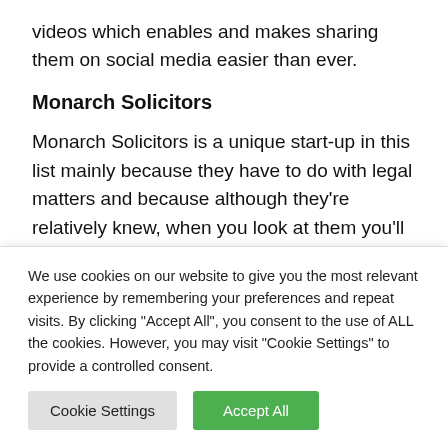videos which enables and makes sharing them on social media easier than ever.
Monarch Solicitors
Monarch Solicitors is a unique start-up in this list mainly because they have to do with legal matters and because although they're relatively knew, when you look at them you'll feel as if they've been
We use cookies on our website to give you the most relevant experience by remembering your preferences and repeat visits. By clicking "Accept All", you consent to the use of ALL the cookies. However, you may visit "Cookie Settings" to provide a controlled consent.